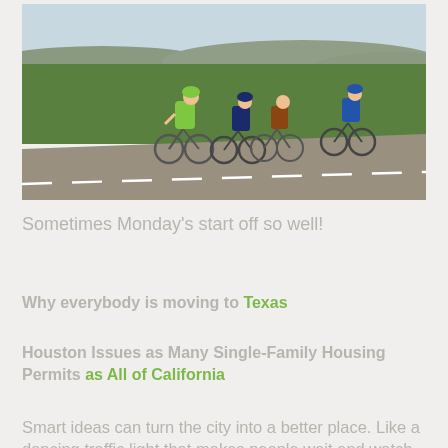[Figure (photo): Cyclists riding on a rural road with green fields and hills in the background. Several cyclists visible, one in green jersey prominent.]
Sometimes Monday's start off so well!
Why everybody is moving to Texas
Houston Issues as Many Single-Family Housing Permits as All of California
Smart ideas can turn the city into a better place. Like a dancing traffic light that makes people wait and watch